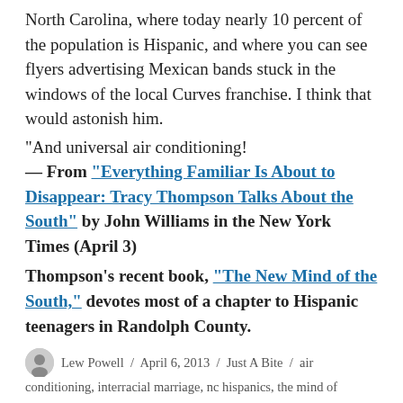North Carolina, where today nearly 10 percent of the population is Hispanic, and where you can see flyers advertising Mexican bands stuck in the windows of the local Curves franchise. I think that would astonish him.
“And universal air conditioning!
— From “Everything Familiar Is About to Disappear: Tracy Thompson Talks About the South” by John Williams in the New York Times (April 3)
Thompson’s recent book, “The New Mind of the South,” devotes most of a chapter to Hispanic teenagers in Randolph County.
.
Lew Powell / April 6, 2013 / Just A Bite / air conditioning, interracial marriage, nc hispanics, the mind of